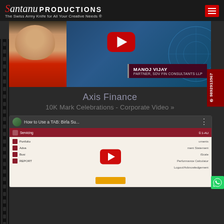[Figure (logo): Santanu Productions logo with cursive script and tagline 'The Swiss Army Knife for All Your Creative Needs ®']
[Figure (screenshot): Video thumbnail showing Manoj Vijay, Partner at SDV Fin Consultants LLP, with a YouTube play button overlay on a blue tech background]
Axis Finance
10K Mark Celebrations - Corporate Video »
[Figure (screenshot): YouTube video thumbnail for 'How to Use a TAB: Birla Su...' showing a mobile app screen with a red play button overlay]